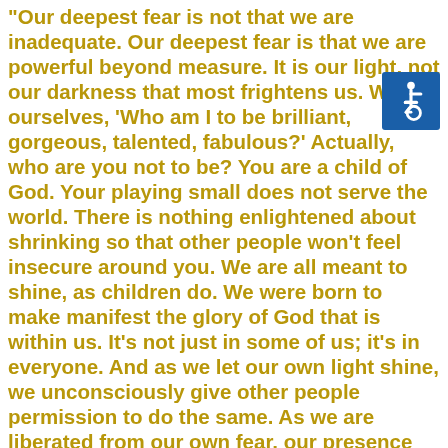“Our deepest fear is not that we are inadequate. Our deepest fear is that we are powerful beyond measure. It is our light, not our darkness that most frightens us. We ask ourselves, ‘Who am I to be brilliant, gorgeous, talented, fabulous?’ Actually, who are you not to be? You are a child of God. Your playing small does not serve the world. There is nothing enlightened about shrinking so that other people won’t feel insecure around you. We are all meant to shine, as children do. We were born to make manifest the glory of God that is within us. It’s not just in some of us; it’s in everyone. And as we let our own light shine, we unconsciously give other people permission to do the same. As we are liberated from our own fear, our presence automatically liberates others.” — Marianne Williamson, A Return to Love: Reflections on the Principles of “A Course in Miracles”
[Figure (illustration): International Symbol of Access (wheelchair accessibility icon) — white wheelchair user symbol on a blue square background]